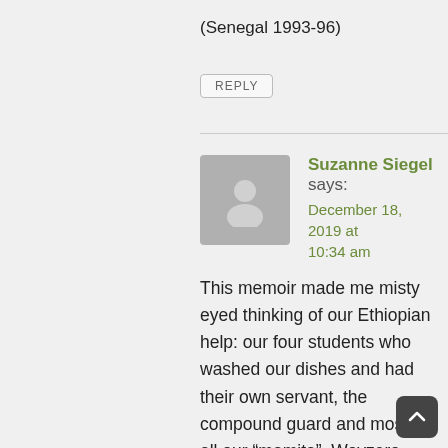(Senegal 1993-96)
REPLY
Suzanne Siegel says: December 18, 2019 at 10:34 am
This memoir made me misty eyed thinking of our Ethiopian help: our four students who washed our dishes and had their own servant, the compound guard and most of all our “mamita”, Woyzero Taitu who took care of our son Thomas who was born in Addis during our second year there.